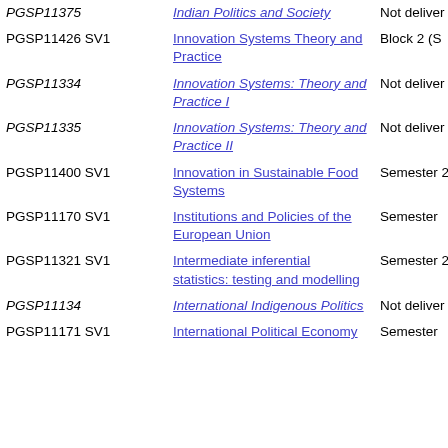| Code | Title | Delivery |
| --- | --- | --- |
| PGSP11375 | Indian Politics and Society | Not deliver... |
| PGSP11426 SV1 | Innovation Systems Theory and Practice | Block 2 (S... |
| PGSP11334 | Innovation Systems: Theory and Practice I | Not deliver... |
| PGSP11335 | Innovation Systems: Theory and Practice II | Not deliver... |
| PGSP11400 SV1 | Innovation in Sustainable Food Systems | Semester 2... |
| PGSP11170 SV1 | Institutions and Policies of the European Union | Semester ... |
| PGSP11321 SV1 | Intermediate inferential statistics: testing and modelling | Semester 2... |
| PGSP11134 | International Indigenous Politics | Not deliver... |
| PGSP11171 SV1 | International Political Economy | Semester ... |